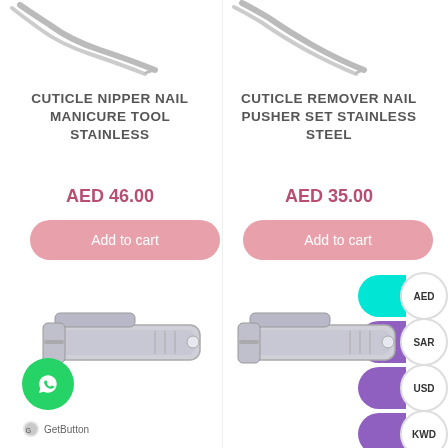[Figure (photo): Top portion of a stainless steel cuticle nipper tool on white background (left product)]
[Figure (photo): Top portion of a stainless steel cuticle remover nail pusher on white background (right product)]
CUTICLE NIPPER NAIL MANICURE TOOL STAINLESS
CUTICLE REMOVER NAIL PUSHER SET STAINLESS STEEL
AED 46.00
AED 35.00
Add to cart
Add to cart
AED
SAR
USD
KWD
[Figure (photo): Stainless steel nail clipper (left)]
[Figure (photo): Stainless steel nail clipper (right)]
[Figure (logo): WhatsApp green circle button with phone icon]
GetButton